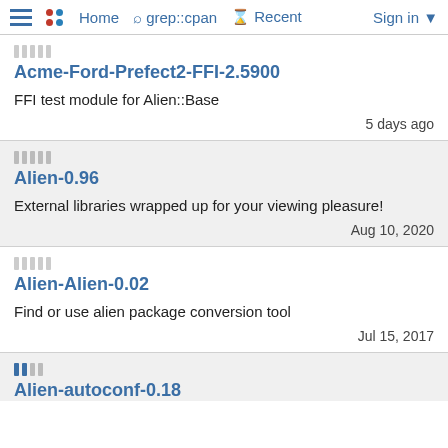Home  grep::cpan  Recent  Sign in
Acme-Ford-Prefect2-FFI-2.5900
FFI test module for Alien::Base
5 days ago
Alien-0.96
External libraries wrapped up for your viewing pleasure!
Aug 10, 2020
Alien-Alien-0.02
Find or use alien package conversion tool
Jul 15, 2017
Alien-autoconf-0.18